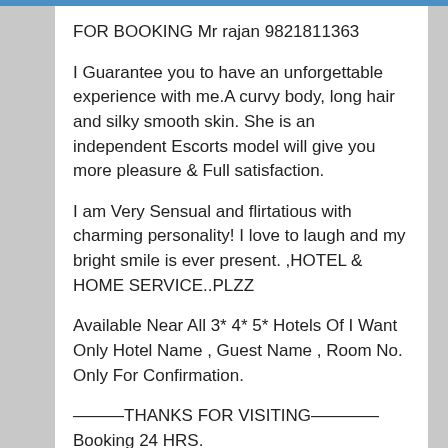FOR BOOKING Mr rajan 9821811363
I Guarantee you to have an unforgettable experience with me.A curvy body, long hair and silky smooth skin. She is an independent Escorts model will give you more pleasure & Full satisfaction.
I am Very Sensual and flirtatious with charming personality! I love to laugh and my bright smile is ever present. ,HOTEL & HOME SERVICE..PLZZ
Available Near All 3* 4* 5* Hotels Of I Want Only Hotel Name , Guest Name , Room No. Only For Confirmation.
———THANKS FOR VISITING———— Booking 24 HRS.
NOW CALL FOR ENJOY